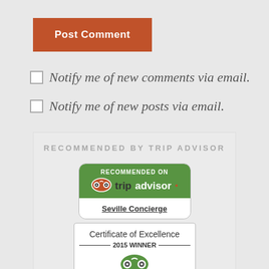Post Comment
Notify me of new comments via email.
Notify me of new posts via email.
RECOMMENDED BY TRIP ADVISOR
[Figure (logo): TripAdvisor Recommended On badge for Seville Concierge]
[Figure (logo): TripAdvisor Certificate of Excellence 2015 Winner badge]